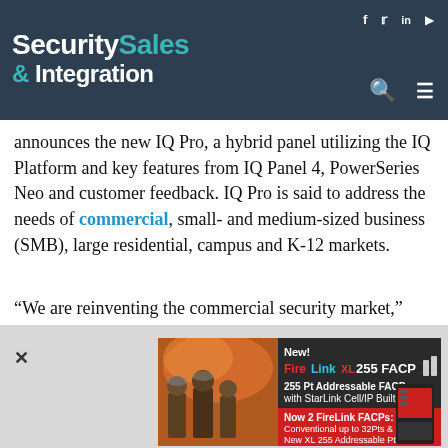Security Sales & Integration
announces the new IQ Pro, a hybrid panel utilizing the IQ Platform and key features from IQ Panel 4, PowerSeries Neo and customer feedback. IQ Pro is said to address the needs of commercial, small- and medium-sized business (SMB), large residential, campus and K-12 markets.
“We are reinventing the commercial security market,” says Mike Hackett, Johnson Controls, vice president, global sales & marketing. “We already have a
[Figure (photo): FireLink XL 255 FACP advertisement banner with firefighters on the left and product device image on the right. Text reads: New! FireLink XL 255 FACP, 255 Pt Addressable FACP with StarLink Cell/IP Built in, Now 2 FireLink FACPs: Conventional up to 32Pts & New XL 255 Addressable Pts.]